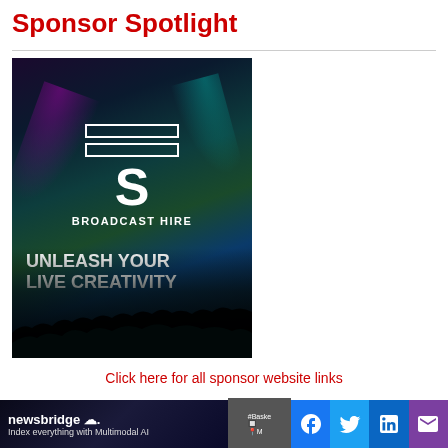Sponsor Spotlight
[Figure (illustration): ES Broadcast Hire advertisement showing a concert crowd with colorful stage lighting. Large ES logo at top (two horizontal bars above a large S), text 'BROADCAST HIRE' and tagline 'UNLEASH YOUR LIVE CREATIVITY']
Click here for all sponsor website links
[Figure (illustration): Bottom strip showing two panels: left panel is a newsbridge ad with text 'newsbridge' and 'Index everything with Multimodal AI' on dark background; right panel shows social media icons (Facebook, Twitter, LinkedIn, Email) in blue/purple squares, and a small video thumbnail]
[Figure (screenshot): Social media share buttons: Facebook (blue), Twitter (light blue), LinkedIn (dark blue), Email (purple)]